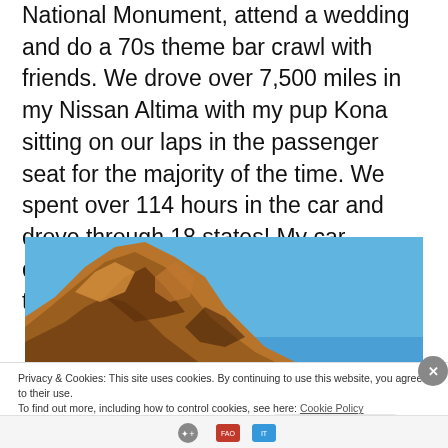National Monument, attend a wedding and do a 70s theme bar crawl with friends. We drove over 7,500 miles in my Nissan Altima with my pup Kona sitting on our laps in the passenger seat for the majority of the time. We spent over 114 hours in the car and drove through 18 states! My car definitely needed some TLC after this trip.
[Figure (photo): Photo of a rocky sandstone cliff formation against a bright blue sky, likely at a national monument or park.]
Privacy & Cookies: This site uses cookies. By continuing to use this website, you agree to their use.
To find out more, including how to control cookies, see here: Cookie Policy
Close and accept